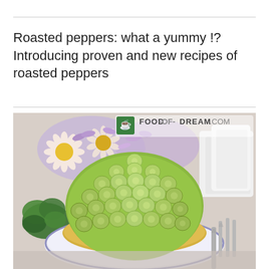Roasted peppers: what a yummy !? Introducing proven and new recipes of roasted peppers
[Figure (photo): A dome-shaped salad made of sliced green grapes arranged on a plate, garnished with fresh parsley, with daisies and white cups in the background. Watermark reads FOOD-OF-DREAM.COM with a small green icon.]